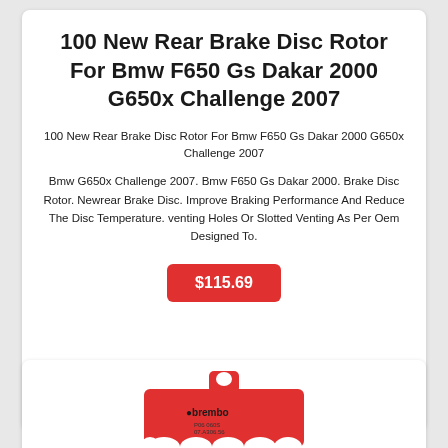100 New Rear Brake Disc Rotor For Bmw F650 Gs Dakar 2000 G650x Challenge 2007
100 New Rear Brake Disc Rotor For Bmw F650 Gs Dakar 2000 G650x Challenge 2007
Bmw G650x Challenge 2007. Bmw F650 Gs Dakar 2000. Brake Disc Rotor. Newrear Brake Disc. Improve Braking Performance And Reduce The Disc Temperature. venting Holes Or Slotted Venting As Per Oem Designed To.
$115.69
[Figure (photo): Red Brembo brake pads product photo]